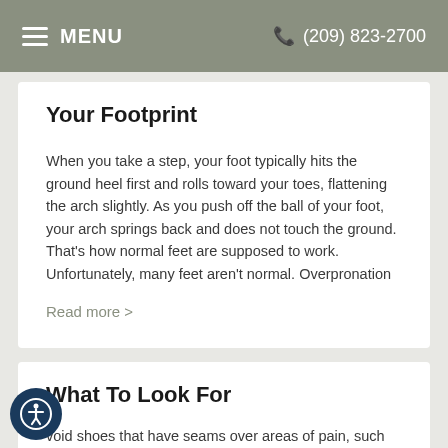MENU   (209) 823-2700
Your Footprint
When you take a step, your foot typically hits the ground heel first and rolls toward your toes, flattening the arch slightly. As you push off the ball of your foot, your arch springs back and does not touch the ground. That’s how normal feet are supposed to work. Unfortunately, many feet aren’t normal. Overpronation
Read more >
What To Look For
void shoes that have seams over areas of pain, such as a bunion. Avoid shoes with heavy rubber soles that curl over